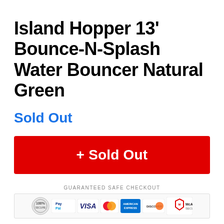Island Hopper 13' Bounce-N-Splash Water Bouncer Natural Green
Sold Out
+ Sold Out
[Figure (infographic): Guaranteed Safe Checkout badge strip with PayPal, Visa, Mastercard, American Express, Discover, and McAfee Secure logos]